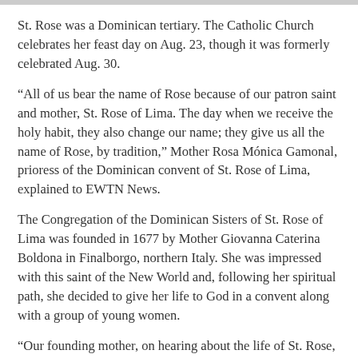St. Rose was a Dominican tertiary. The Catholic Church celebrates her feast day on Aug. 23, though it was formerly celebrated Aug. 30.
“All of us bear the name of Rose because of our patron saint and mother, St. Rose of Lima. The day when we receive the holy habit, they also change our name; they give us all the name of Rose, by tradition,” Mother Rosa Mónica Gamonal, prioress of the Dominican convent of St. Rose of Lima, explained to EWTN News.
The Congregation of the Dominican Sisters of St. Rose of Lima was founded in 1677 by Mother Giovanna Caterina Boldona in Finalborgo, northern Italy. She was impressed with this saint of the New World and, following her spiritual path, she decided to give her life to God in a convent along with a group of young women.
“Our founding mother, on hearing about the life of St. Rose, fell very much in love with her charism, with her life; she became enthused and felt the call to found a congregation so we could continue what she has left us, what she has handed on to us. To continue with her work of love for Christ, of this gift of self, and also of love for neighbor,” Mother Rosa Mónica recounted.